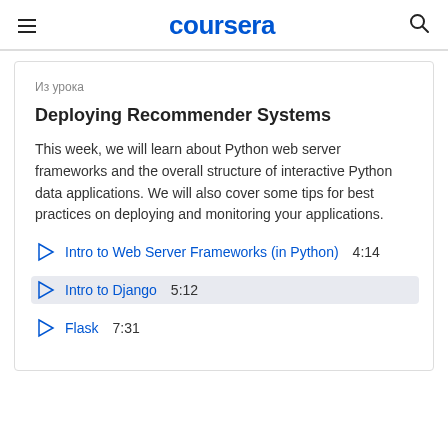coursera
Из урока
Deploying Recommender Systems
This week, we will learn about Python web server frameworks and the overall structure of interactive Python data applications. We will also cover some tips for best practices on deploying and monitoring your applications.
Intro to Web Server Frameworks (in Python)  4:14
Intro to Django  5:12
Flask  7:31